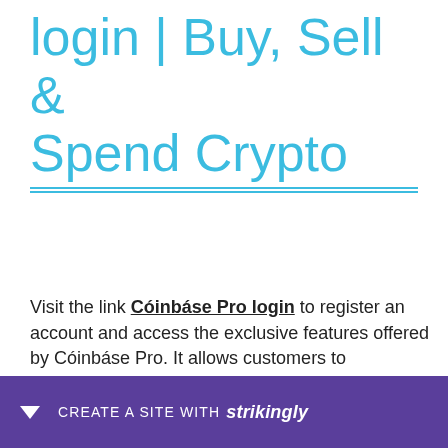login | Buy, Sell & Spend Crypto
Visit the link Cóinbáse Pro login to register an account and access the exclusive features offered by Cóinbáse Pro. It allows customers to purchase, sell, and trade a wide range of digital assets with a safe and secure platform. Cóinbáse Pro provides top-level security features like FDIC insurance and cold storage. Its security services include biometric fingerprint login, two-step verification & AES-256 encryption for online wallets and advanced and e
[Figure (other): Purple banner overlay at the bottom showing 'CREATE A SITE WITH strikingly' text with a downward arrow icon]